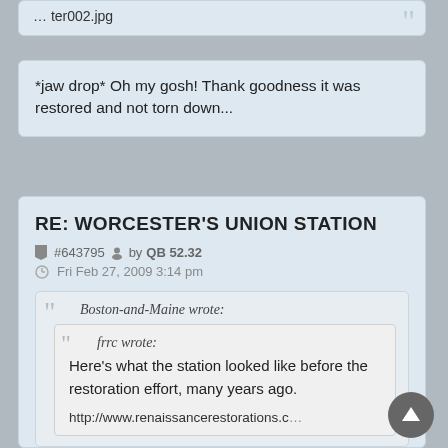… ter002.jpg
*jaw drop* Oh my gosh! Thank goodness it was restored and not torn down...
RE: WORCESTER'S UNION STATION
#643795 by QB 52.32
Fri Feb 27, 2009 3:14 pm
Boston-and-Maine wrote:
frrc wrote:
Here's what the station looked like before the restoration effort, many years ago.

http://www.renaissancerestorations.c...